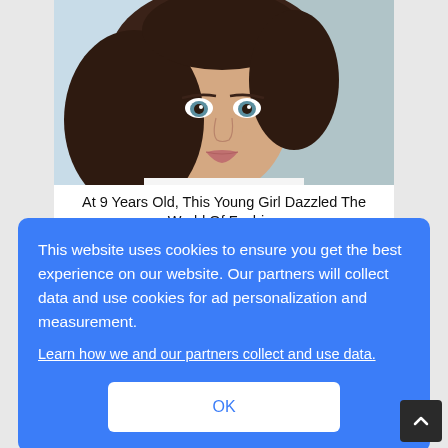[Figure (photo): Portrait photo of a young woman with long brown wavy hair and blue-green eyes, selfie style, light background]
At 9 Years Old, This Young Girl Dazzled The World Of Fashion
This website uses cookies to ensure you get the best experience on our website. Our partners will collect data and use cookies for ad personalization and measurement.
Learn how we and our partners collect and use data.
OK